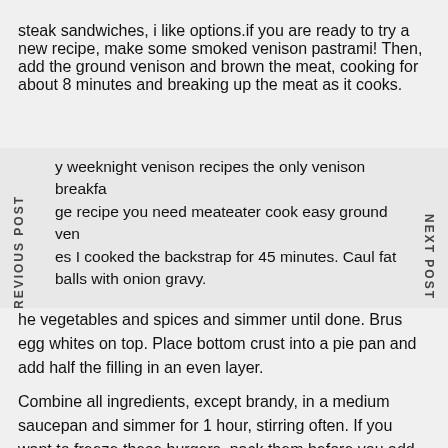steak sandwiches, i like options.if you are ready to try a new recipe, make some smoked venison pastrami! Then, add the ground venison and brown the meat, cooking for about 8 minutes and breaking up the meat as it cooks.
y weeknight venison recipes the only venison breakfa ge recipe you need meateater cook easy ground ven es I cooked the backstrap for 45 minutes. Caul fat balls with onion gravy.
want a sandwich already! Spoon in the venison and cable mixture. Stir brandy into cooled mixture.
he vegetables and spices and simmer until done. Brus egg whites on top. Place bottom crust into a pie pan and add half the filling in an even layer.
Combine all ingredients, except brandy, in a medium saucepan and simmer for 1 hour, stirring often. If you want to freeze these burgers, pack them before you add the steak. Pour the broths